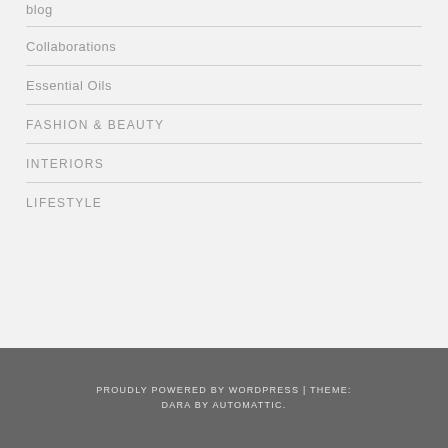blog
Collaborations
Essential Oils
FASHION & BEAUTY
INTERIORS
LIFESTYLE
PROUDLY POWERED BY WORDPRESS | THEME: DARA BY AUTOMATTIC.